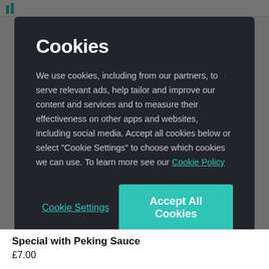Cookies
We use cookies, including from our partners, to serve relevant ads, help tailor and improve our content and services and to measure their effectiveness on other apps and websites, including social media. Accept all cookies below or select “Cookie Settings” to choose which cookies we can use. To learn more see our Cookie Policy
Cookie Settings | Accept All Cookies
Special with Peking Sauce
£7.00